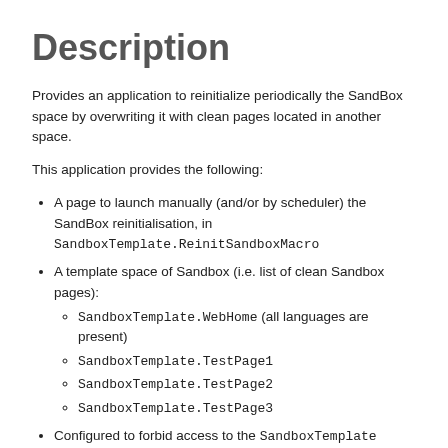Description
Provides an application to reinitialize periodically the SandBox space by overwriting it with clean pages located in another space.
This application provides the following:
A page to launch manually (and/or by scheduler) the SandBox reinitialisation, in SandboxTemplate.ReinitSandboxMacro
A template space of Sandbox (i.e. list of clean Sandbox pages): SandboxTemplate.WebHome (all languages are present), SandboxTemplate.TestPage1, SandboxTemplate.TestPage2, SandboxTemplate.TestPage3
Configured to forbid access to the SandboxTemplate space for XWikiAllGroup and Unregistered Users (SandboxTemplate.WebPreferences)